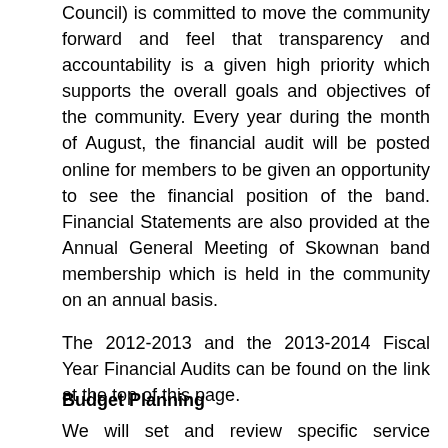Council) is committed to move the community forward and feel that transparency and accountability is a given high priority which supports the overall goals and objectives of the community. Every year during the month of August, the financial audit will be posted online for members to be given an opportunity to see the financial position of the band. Financial Statements are also provided at the Annual General Meeting of Skownan band membership which is held in the community on an annual basis.
The 2012-2013 and the 2013-2014 Fiscal Year Financial Audits can be found on the link at the top of this page.
Budget Planning
We will set and review specific service objectives of individual programs, which include establishment of